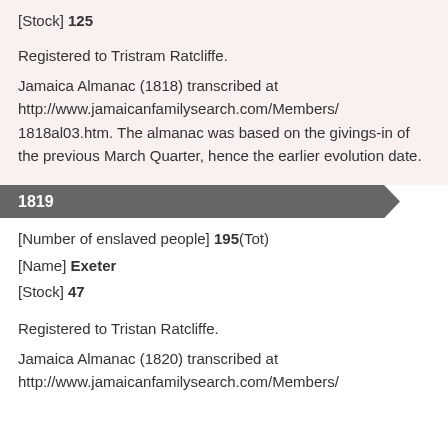[Stock] 125
Registered to Tristram Ratcliffe.
Jamaica Almanac (1818) transcribed at http://www.jamaicanfamilysearch.com/Members/1818al03.htm. The almanac was based on the givings-in of the previous March Quarter, hence the earlier evolution date.
1819
[Number of enslaved people] 195(Tot)
[Name] Exeter
[Stock] 47
Registered to Tristan Ratcliffe.
Jamaica Almanac (1820) transcribed at http://www.jamaicanfamilysearch.com/Members/